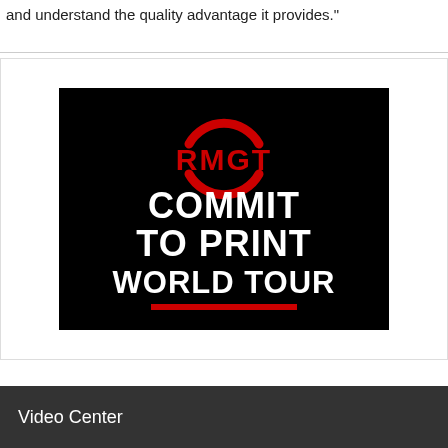and understand the quality advantage it provides."
[Figure (logo): RMGT Commit to Print World Tour logo on black background with red circular arc symbol above bold white text]
Video Center